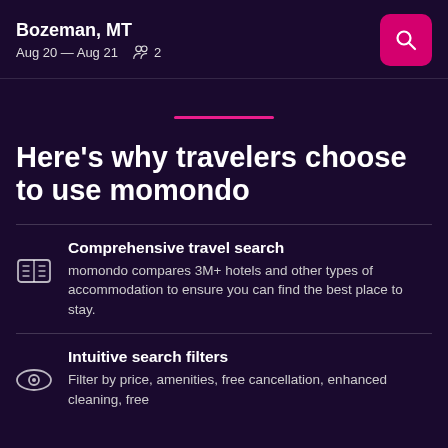Bozeman, MT | Aug 20 — Aug 21 | 2 guests
Here's why travelers choose to use momondo
Comprehensive travel search
momondo compares 3M+ hotels and other types of accommodation to ensure you can find the best place to stay.
Intuitive search filters
Filter by price, amenities, free cancellation, enhanced cleaning, free